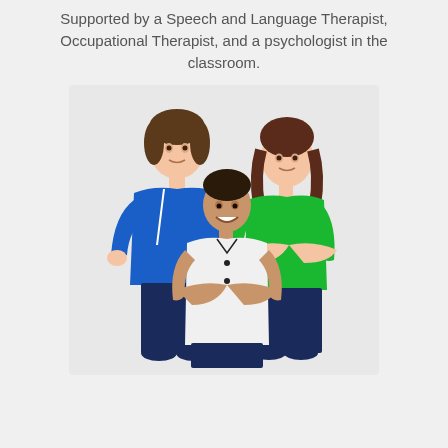Supported by a Speech and Language Therapist, Occupational Therapist, and a psychologist in the classroom.
[Figure (photo): Three school-age children standing together against a white background. The child on the left wears a blue polo shirt and has hands on hips. The child in the middle wears a white polo shirt with arms crossed and is smiling. The child on the right wears a green polo shirt with arms crossed and is smiling.]